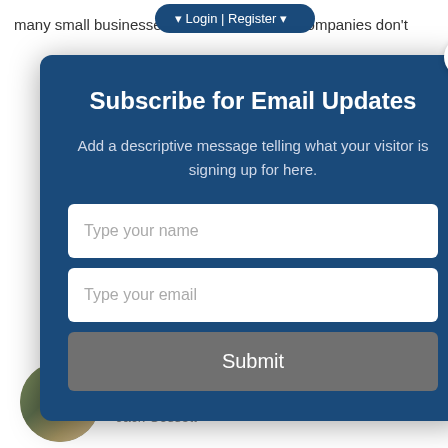many small businesses … companies don't
[Figure (screenshot): Email subscription modal dialog with dark blue background, containing title 'Subscribe for Email Updates', descriptive text, name input field, email input field, and Submit button. A close (×) button appears in top-right corner.]
Subscribe for Email Updates
Add a descriptive message telling what your visitor is signing up for here.
Type your name
Type your email
Submit
[Figure (photo): Small circular author photo showing a man with glasses and beard wearing a light-colored shirt]
IT Consulting Brings Clarity
Friday, May 31, 2019
Jack Gossett